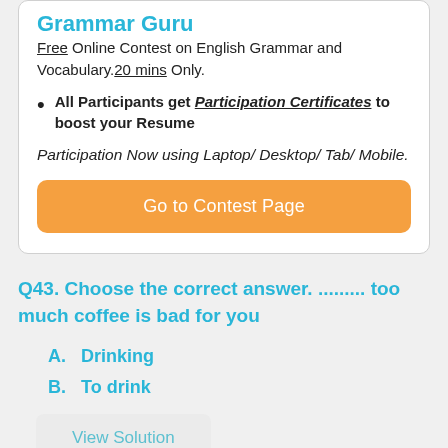Grammar Guru
Free Online Contest on English Grammar and Vocabulary.20 mins Only.
All Participants get Participation Certificates to boost your Resume
Participation Now using Laptop/ Desktop/ Tab/ Mobile.
[Figure (other): Orange button labelled 'Go to Contest Page']
Q43. Choose the correct answer. ......... too much coffee is bad for you
A.   Drinking
B.   To drink
[Figure (other): Grey button labelled 'View Solution']